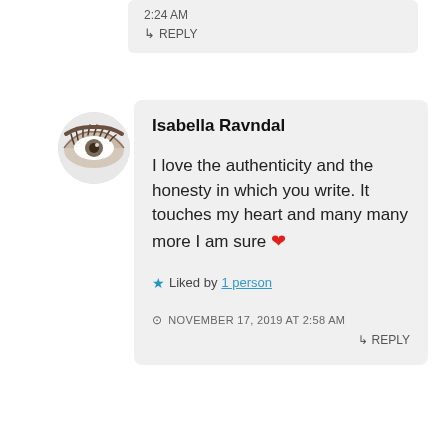2:24 AM
↳ REPLY
[Figure (photo): Circular avatar showing a close-up of an eye with detailed eyelashes]
Isabella Ravndal
I love the authenticity and the honesty in which you write. It touches my heart and many many more I am sure ❤
★ Liked by 1 person
NOVEMBER 17, 2019 AT 2:58 AM
↳ REPLY